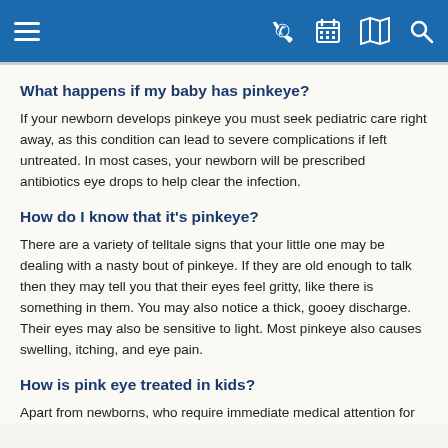Navigation bar with hamburger menu, phone, calendar, map, and search icons
What happens if my baby has pinkeye?
If your newborn develops pinkeye you must seek pediatric care right away, as this condition can lead to severe complications if left untreated. In most cases, your newborn will be prescribed antibiotics eye drops to help clear the infection.
How do I know that it's pinkeye?
There are a variety of telltale signs that your little one may be dealing with a nasty bout of pinkeye. If they are old enough to talk then they may tell you that their eyes feel gritty, like there is something in them. You may also notice a thick, gooey discharge. Their eyes may also be sensitive to light. Most pinkeye also causes swelling, itching, and eye pain.
How is pink eye treated in kids?
Apart from newborns, who require immediate medical attention for